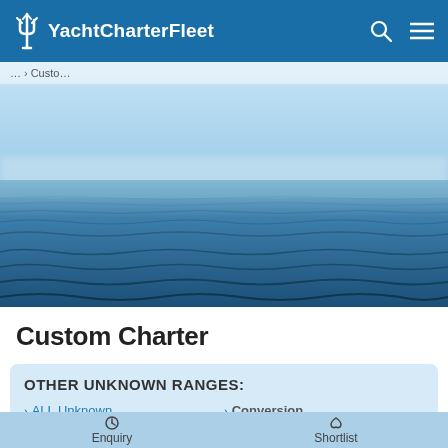YachtCharterFleet
… > Custo…
[Figure (photo): Ocean/sea horizon photograph showing blue water with gentle waves and a light blue sky with haze on the horizon.]
Custom Charter
OTHER UNKNOWN RANGES:
> ALL Unknown
> Conversion
Enquiry   Shortlist